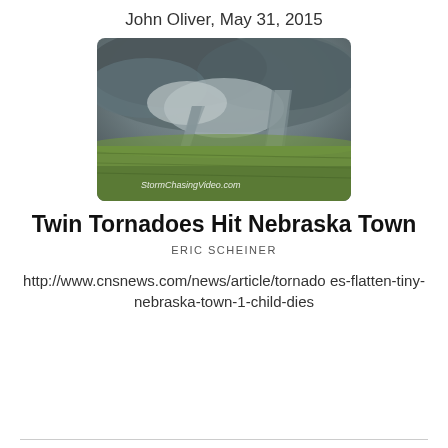John Oliver, May 31, 2015
[Figure (photo): Aerial photo of twin tornadoes touching down over a flat green field under dark storm clouds. Watermark: StormChasingVideo.com]
Twin Tornadoes Hit Nebraska Town
ERIC SCHEINER
http://www.cnsnews.com/news/article/tornadoes-flatten-tiny-nebraska-town-1-child-dies